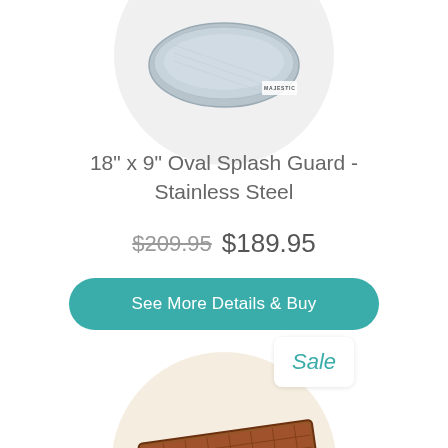[Figure (photo): Partial view of a circular product display showing an oval stainless steel splash guard on a light gray background with Majestic logo]
18" x 9" Oval Splash Guard - Stainless Steel
$209.95 $189.95
See More Details & Buy
Sale
[Figure (photo): Rectangular copper/brown colored splash guard tray displayed in a circular product container with cream background and Majestic logo]